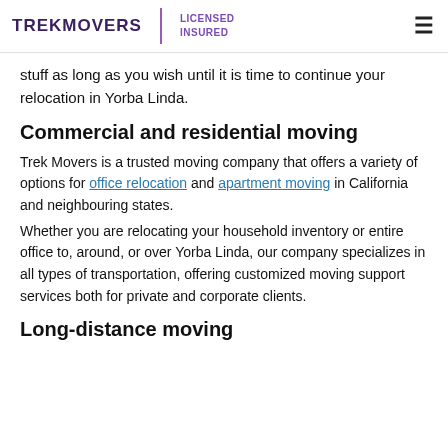TREKMOVERS | LICENSED INSURED
stuff as long as you wish until it is time to continue your relocation in Yorba Linda.
Commercial and residential moving
Trek Movers is a trusted moving company that offers a variety of options for office relocation and apartment moving in California and neighbouring states. Whether you are relocating your household inventory or entire office to, around, or over Yorba Linda, our company specializes in all types of transportation, offering customized moving support services both for private and corporate clients.
Long-distance moving